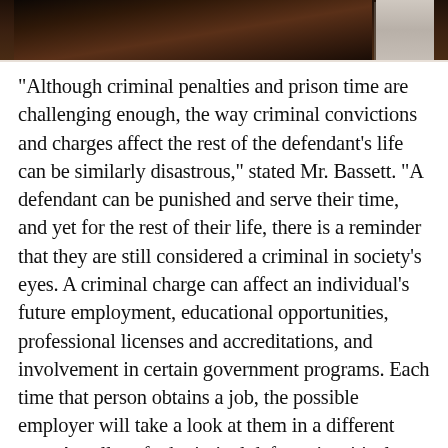[Figure (photo): Photograph strip at top of page showing a person in what appears to be a legal or professional setting, partially cropped.]
"Although criminal penalties and prison time are challenging enough, the way criminal convictions and charges affect the rest of the defendant's life can be similarly disastrous," stated Mr. Bassett. "A defendant can be punished and serve their time, and yet for the rest of their life, there is a reminder that they are still considered a criminal in society's eyes. A criminal charge can affect an individual's future employment, educational opportunities, professional licenses and accreditations, and involvement in certain government programs. Each time that person obtains a job, the possible employer will take a look at them in a different way. A well-crafted criminal defense is critical to safeguard my clients not only from the criminal penalty itself but likewise these other long-term collateral effects."